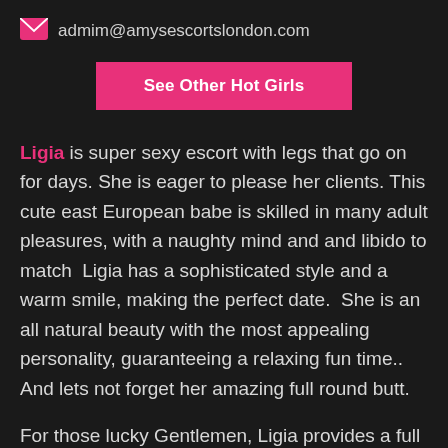admim@amysescortslondon.com
See Other Hot Girls
Ligia is super sexy escort with legs that go on for days. She is eager to please her clients. This cute east European babe is skilled in many adult pleasures, with a naughty mind and and libido to match  Ligia has a sophisticated style and a warm smile, making the perfect date.  She is an all natural beauty with the most appealing personality, guaranteeing a relaxing fun time.. And lets not forget her amazing full round butt.
For those lucky Gentlemen, Ligia provides a full